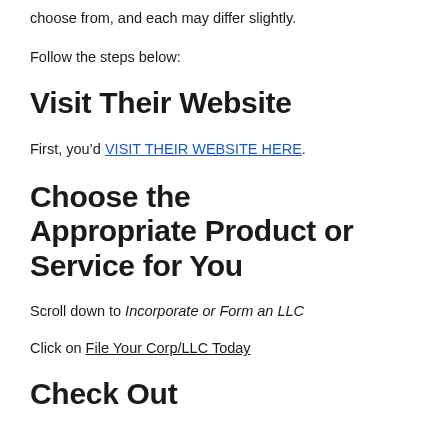choose from, and each may differ slightly.
Follow the steps below:
Visit Their Website
First, you’d VISIT THEIR WEBSITE HERE.
Choose the Appropriate Product or Service for You
Scroll down to Incorporate or Form an LLC
Click on File Your Corp/LLC Today
Check Out